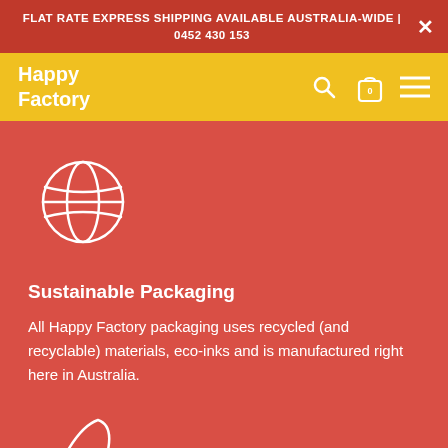FLAT RATE EXPRESS SHIPPING AVAILABLE AUSTRALIA-WIDE | 0452 430 153
[Figure (logo): Happy Factory yellow navigation bar with logo text, search icon, cart icon with 0, and hamburger menu icon]
[Figure (illustration): White outline globe/earth icon on red background]
Sustainable Packaging
All Happy Factory packaging uses recycled (and recyclable) materials, eco-inks and is manufactured right here in Australia.
[Figure (illustration): White outline rocket icon on red background, partially visible at bottom]